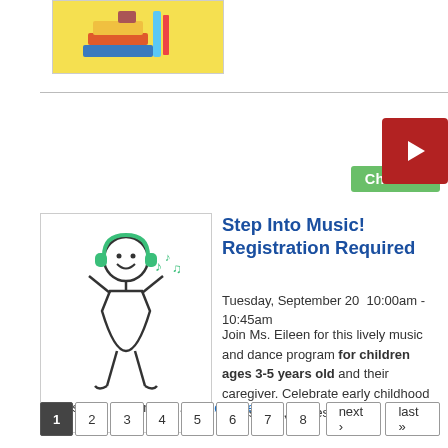[Figure (illustration): Partial view of a book/reading themed illustration on a yellow background — top of page]
[Figure (illustration): Red play button icon (dark red square with white triangle)]
[Figure (illustration): Green 'Children' category badge/tag]
[Figure (illustration): Stick figure child with headphones and musical notes — event thumbnail image]
Step Into Music! Registration Required
Tuesday, September 20  10:00am - 10:45am
Join Ms. Eileen for this lively music and dance program for children ages 3-5 years old and their caregiver. Celebrate early childhood with songs, stories, games, and movement.... Read More
1 2 3 4 5 6 7 8   next › last »